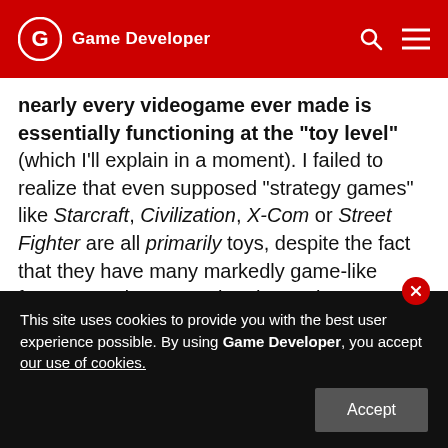Game Developer
nearly every videogame ever made is essentially functioning at the "toy level" (which I'll explain in a moment). I failed to realize that even supposed "strategy games" like Starcraft, Civilization, X-Com or Street Fighter are all primarily toys, despite the fact that they have many markedly game-like features and even market themselves as strategy games.
This caused me to raise concerns that failed to connect with people, because I was looking at them
This site uses cookies to provide you with the best user experience possible. By using Game Developer, you accept our use of cookies.